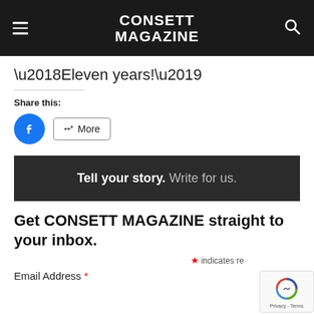CONSETT MAGAZINE
‘Eleven years!’
Share this:
[Figure (infographic): Social share buttons: Facebook icon (blue circle) and a More button with share icon]
[Figure (infographic): Dark banner reading: Tell your story. Write for us.]
Get CONSETT MAGAZINE straight to your inbox.
* indicates required
Email Address *